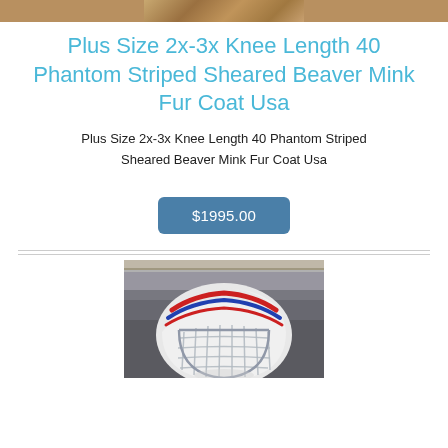[Figure (photo): Partial top image of a fur coat, cropped at the top of the page]
Plus Size 2x-3x Knee Length 40 Phantom Striped Sheared Beaver Mink Fur Coat Usa
Plus Size 2x-3x Knee Length 40 Phantom Striped Sheared Beaver Mink Fur Coat Usa
$1995.00
[Figure (photo): Photo of a hockey goalie mask/helmet, white with red and blue stripes, with wire cage, positioned in front of a blurred background of hockey boards]